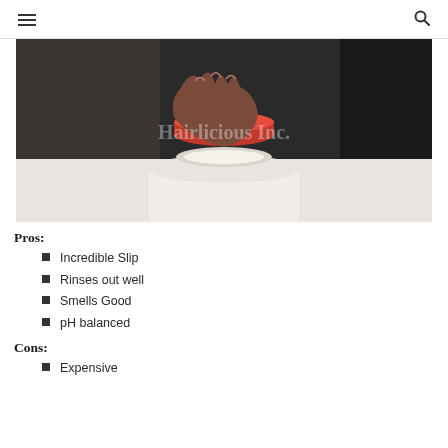≡  🔍
[Figure (photo): Close-up photo of a hand opening a white jar/container with a red lid, showing a creamy white product inside. Watermark reads 'Hairlicious Inc.' in the center.]
Pros:
Incredible Slip
Rinses out well
Smells Good
pH balanced
Cons:
Expensive